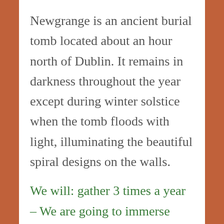Newgrange is an ancient burial tomb located about an hour north of Dublin. It remains in darkness throughout the year except during winter solstice when the tomb floods with light, illuminating the beautiful spiral designs on the walls.
We will: gather 3 times a year – We are going to immerse ourselves in the ancient wisdom of the paeolithic